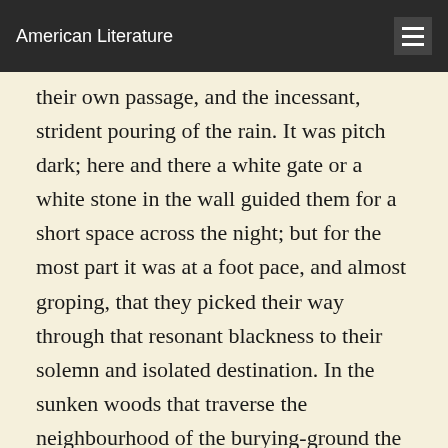American Literature
their own passage, and the incessant, strident pouring of the rain. It was pitch dark; here and there a white gate or a white stone in the wall guided them for a short space across the night; but for the most part it was at a foot pace, and almost groping, that they picked their way through that resonant blackness to their solemn and isolated destination. In the sunken woods that traverse the neighbourhood of the burying-ground the last glimmer failed them, and it became necessary to kindle a match and re-illumine one of the lanterns of the gig. Thus, under the dripping trees, and environed by huge and moving shadows, they reached the scene of their unhallowed labours.